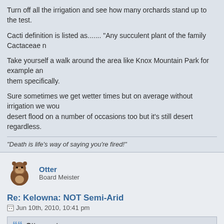Turn off all the irrigation and see how many orchards stand up to the test.
Cacti definition is listed as....... "Any succulent plant of the family Cactaceae n
Take yourself a walk around the area like Knox Mountain Park for example and them specifically.
Sure sometimes we get wetter times but on average without irrigation we wou desert flood on a number of occasions too but it's still desert regardless.
"Death is life's way of saying you're fired!"
Otter
Board Meister
Re: Kelowna: NOT Semi-Arid
Jun 10th, 2010, 10:41 pm
Otter wrote:
Hmm...when I took Geography many moons ago, we were told that the Oka